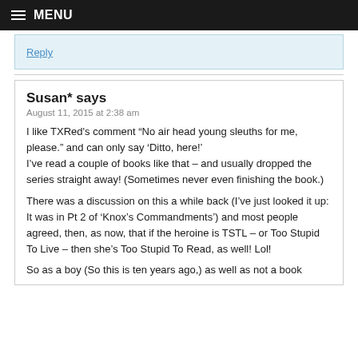MENU
Reply
Susan* says
August 11, 2015 at 2:38 am
I like TXRed's comment “No air head young sleuths for me, please.” and can only say ‘Ditto, here!’
I’ve read a couple of books like that – and usually dropped the series straight away! (Sometimes never even finishing the book.)

There was a discussion on this a while back (I’ve just looked it up: It was in Pt 2 of ‘Knox’s Commandments’) and most people agreed, then, as now, that if the heroine is TSTL – or Too Stupid To Live – then she’s Too Stupid To Read, as well! Lol!
So as a boy (So this is ten years ago,) as well as not a book